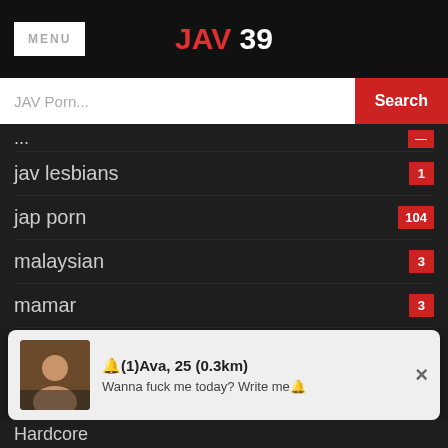MENU   JAV 39
JAV Porn...  Search
jav lesbians  1
jap porn  104
malaysian  3
mamar  3
Popular Porn Tags
Japanese  26515
Teen  14838
🔔(1)Ava, 25 (0.3km)
Wanna fuck me today? Write me🔔
Hardcore